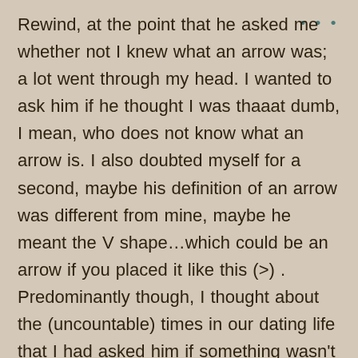Rewind, at the point that he asked me whether not I knew what an arrow was; a lot went through my head. I wanted to ask him if he thought I was thaaat dumb, I mean, who does not know what an arrow is. I also doubted myself for a second, maybe his definition of an arrow was different from mine, maybe he meant the V shape…which could be an arrow if you placed it like this (>) . Predominantly though, I thought about the (uncountable) times in our dating life that I had asked him if something wasn't obvious to the human eye/brain. The times I questioned his judgement in circumstances that to me were common sense or basic knowledge ( and in our small group I realized that this thing of women